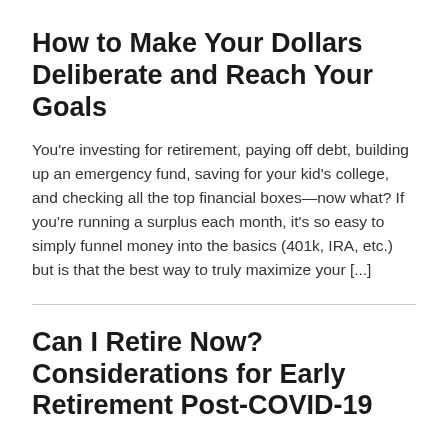How to Make Your Dollars Deliberate and Reach Your Goals
You're investing for retirement, paying off debt, building up an emergency fund, saving for your kid's college, and checking all the top financial boxes—now what? If you're running a surplus each month, it's so easy to simply funnel money into the basics (401k, IRA, etc.) but is that the best way to truly maximize your [...]
Can I Retire Now? Considerations for Early Retirement Post-COVID-19